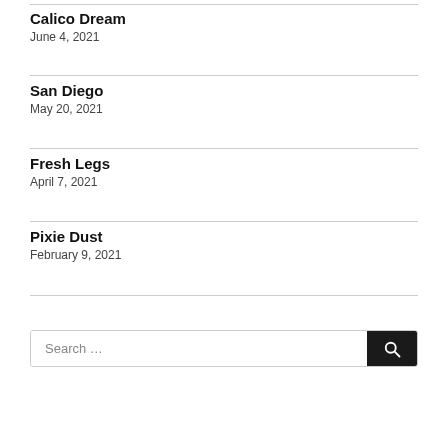Calico Dream
June 4, 2021
San Diego
May 20, 2021
Fresh Legs
April 7, 2021
Pixie Dust
February 9, 2021
Search ...